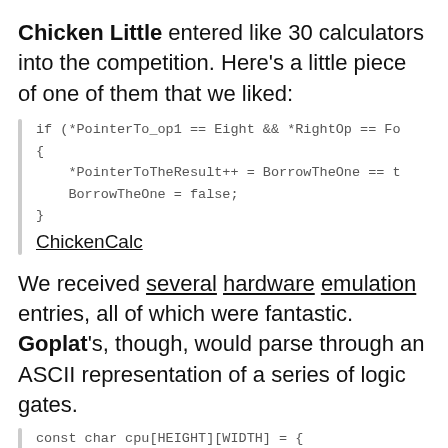Chicken Little entered like 30 calculators into the competition. Here's a little piece of one of them that we liked:
[Figure (screenshot): Code block with left gray bar showing C++ code snippet: if (*PointerTo_op1 == Eight && *RightOp == Fo... { *PointerToTheResult++ = BorrowTheOne == t... BorrowTheOne = false; } followed by caption ChickenCalc]
We received several hardware emulation entries, all of which were fantastic. Goplat's, though, would parse through an ASCII representation of a series of logic gates.
[Figure (screenshot): Code block with left gray bar showing: const char cpu[HEIGHT][WIDTH] = {]